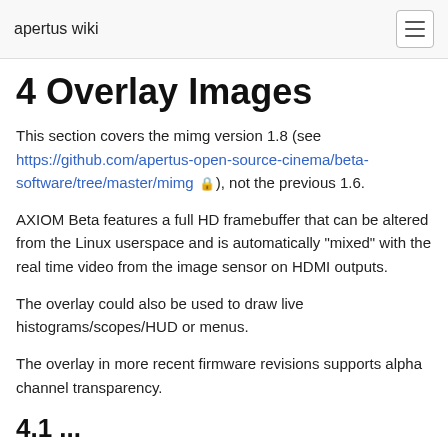apertus wiki
4 Overlay Images
This section covers the mimg version 1.8 (see https://github.com/apertus-open-source-cinema/beta-software/tree/master/mimg 🔒), not the previous 1.6.
AXIOM Beta features a full HD framebuffer that can be altered from the Linux userspace and is automatically "mixed" with the real time video from the image sensor on HDMI outputs.
The overlay could also be used to draw live histograms/scopes/HUD or menus.
The overlay in more recent firmware revisions supports alpha channel transparency.
4.1 ...